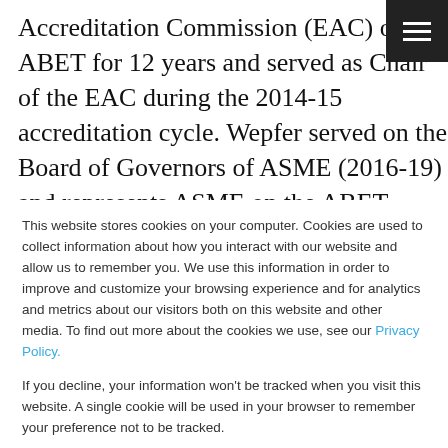Accreditation Commission (EAC) of ABET for 12 years and served as Chair of the EAC during the 2014-15 accreditation cycle. Wepfer served on the Board of Governors of ASME (2016-19) and represents ASME on the ABET Board of Delegates. He has served departmental advisories at Penn State, in State...
This website stores cookies on your computer. Cookies are used to collect information about how you interact with our website and allow us to remember you. We use this information in order to improve and customize your browsing experience and for analytics and metrics about our visitors both on this website and other media. To find out more about the cookies we use, see our Privacy Policy.

If you decline, your information won’t be tracked when you visit this website. A single cookie will be used in your browser to remember your preference not to be tracked.